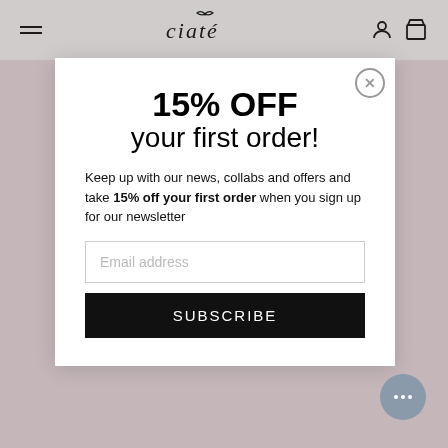ciaté (logo header with hamburger menu and icons)
15% OFF your first order!
Keep up with our news, collabs and offers and take 15% off your first order  when you sign up for our newsletter
Email address
SUBSCRIBE